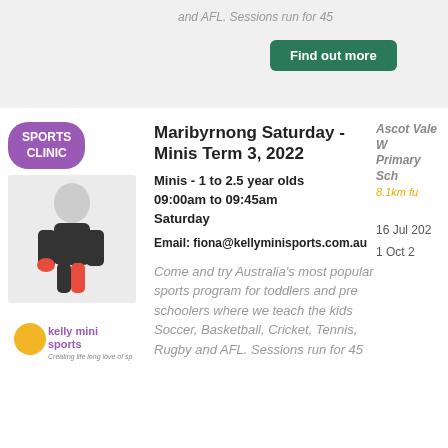and AFL. Sessions run for 45
Find out more
Book a Trial or Full Term!
Maribyrnong Saturday - Minis Term 3, 2022
Minis - 1 to 2.5 year olds
09:00am to 09:45am
Saturday
Email: fiona@kellyminisports.com.au
Ascot Vale W Primary Sch
8.1km fu
16 Jul 202
1 Oct 2
Come and try Australia’s most popular sports program for toddlers and pre schoolers where we teach the kids Soccer, Basketball, Cricket, Tennis, Rugby and AFL. Sessions run for 45
Find out more
Book a Trial or Full Term!
Maribyrnong Tuesday - Minis Term 3, 2022
Minis - 1 to 2.5 year olds
Rosamond Bow
8.2km fu
^ back to top